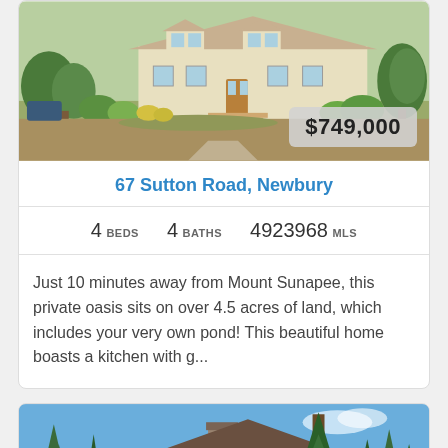[Figure (photo): Exterior photo of a beige/tan house with green landscaping and shrubs, price badge showing $749,000]
67 Sutton Road, Newbury
4 BEDS   4 BATHS   4923968 MLS
Just 10 minutes away from Mount Sunapee, this private oasis sits on over 4.5 acres of land, which includes your very own pond! This beautiful home boasts a kitchen with g...
[Figure (photo): Exterior photo of a large log/stone style house with tall pine trees against a blue sky]